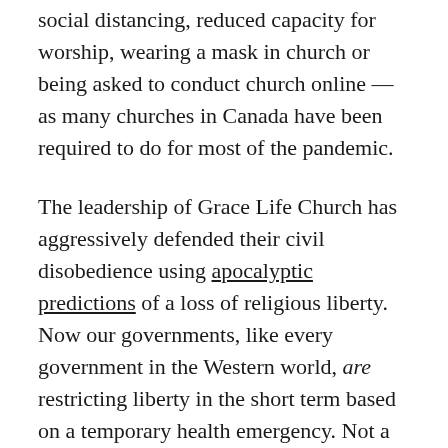social distancing, reduced capacity for worship, wearing a mask in church or being asked to conduct church online — as many churches in Canada have been required to do for most of the pandemic.
The leadership of Grace Life Church has aggressively defended their civil disobedience using apocalyptic predictions of a loss of religious liberty. Now our governments, like every government in the Western world, are restricting liberty in the short term based on a temporary health emergency. Not a single Western government has stated they intend, nor do they have the authority to even if they wished, to continue these measures beyond the health crisis